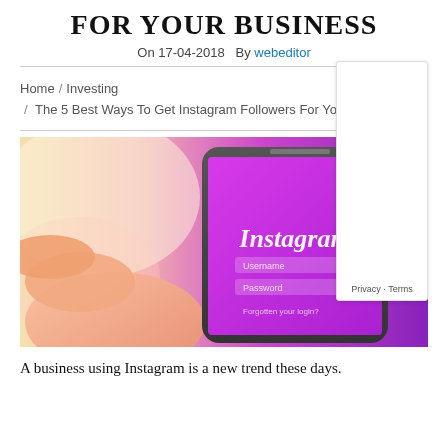FOR YOUR BUSINESS
On 17-04-2018  By webeditor
Home / Investing / The 5 Best Ways To Get Instagram Followers For Your Business
[Figure (photo): A hand holding a smartphone displaying the Instagram login screen with a magenta/pink gradient background showing the Instagram logo, Username and Password fields, and a Forgotten your login? link.]
A business using Instagram is a new trend these days.